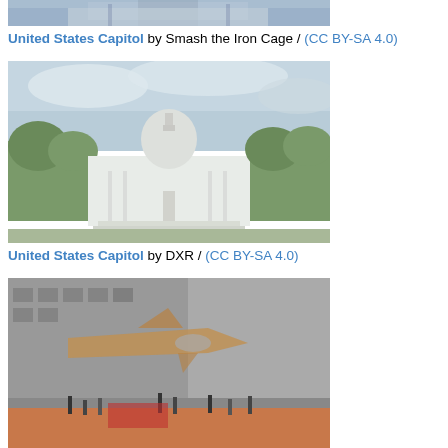[Figure (photo): Partial view of United States Capitol building, top portion]
United States Capitol by Smash the Iron Cage / (CC BY-SA 4.0)
[Figure (photo): United States Capitol building with dome, front view with trees and reflecting pool]
United States Capitol by DXR / (CC BY-SA 4.0)
[Figure (photo): National Air and Space Museum interior/exterior with aircraft on display and people gathered]
National Air and Space Museum by Jawed Karim / (CC BY-SA 3.0)
[Figure (photo): Jefferson Memorial with dome visible across water with trees]